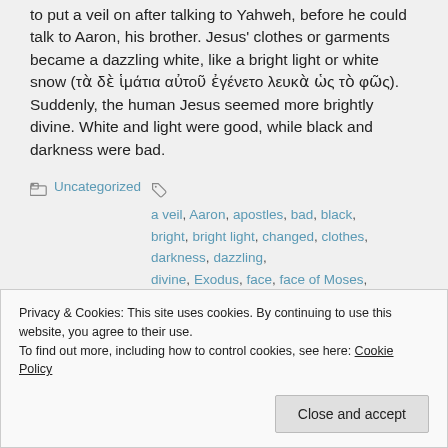to put a veil on after talking to Yahweh, before he could talk to Aaron, his brother. Jesus' clothes or garments became a dazzling white, like a bright light or white snow (τὰ δὲ ἱμάτια αὐτοῦ ἐγένετο λευκὰ ὡς τὸ φῶς). Suddenly, the human Jesus seemed more brightly divine. White and light were good, while black and darkness were bad.
Uncategorized
a veil, Aaron, apostles, bad, black, bright, bright light, changed, clothes, darkness, dazzling, divine, Exodus, face, face of Moses, garments, good, his
Privacy & Cookies: This site uses cookies. By continuing to use this website, you agree to their use. To find out more, including how to control cookies, see here: Cookie Policy